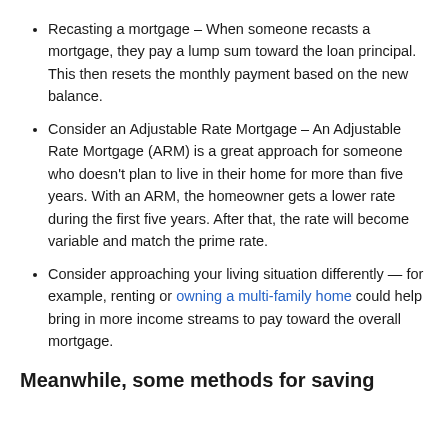Recasting a mortgage – When someone recasts a mortgage, they pay a lump sum toward the loan principal. This then resets the monthly payment based on the new balance.
Consider an Adjustable Rate Mortgage – An Adjustable Rate Mortgage (ARM) is a great approach for someone who doesn't plan to live in their home for more than five years. With an ARM, the homeowner gets a lower rate during the first five years. After that, the rate will become variable and match the prime rate.
Consider approaching your living situation differently — for example, renting or owning a multi-family home could help bring in more income streams to pay toward the overall mortgage.
Meanwhile, some methods for saving